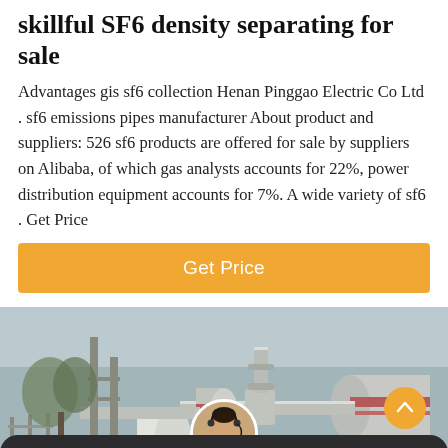skillful SF6 density separating for sale
Advantages gis sf6 collection Henan Pinggao Electric Co Ltd . sf6 emissions pipes manufacturer About product and suppliers: 526 sf6 products are offered for sale by suppliers on Alibaba, of which gas analysts accounts for 22%, power distribution equipment accounts for 7%. A wide variety of sf6 . Get Price
Get Price
[Figure (photo): Industrial SF6 gas handling equipment at an outdoor electrical substation, showing large pipe assemblies and cylindrical tanks with red and white markings, green vegetation and fence in background.]
Leave Message
Chat Online